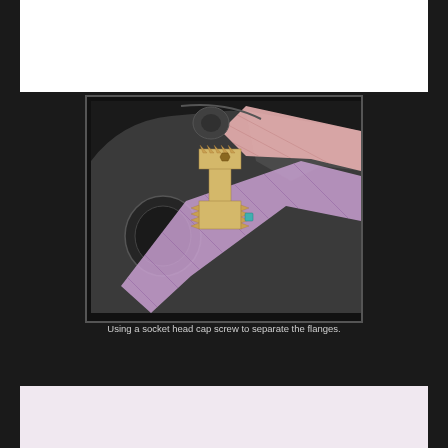[Figure (engineering-diagram): 3D CAD cross-section rendering showing a socket head cap screw mechanism used to separate two flanges. The image shows a dark gray mechanical bracket/housing with a circular bore, and two flange components (one pink/salmon colored, one purple/lavender with hatching) being separated by a yellow/gold colored socket head cap screw with serrated thread profile visible in cross-section. A small teal/cyan element is visible at the screw tip contact point.]
Using a socket head cap screw to separate the flanges.